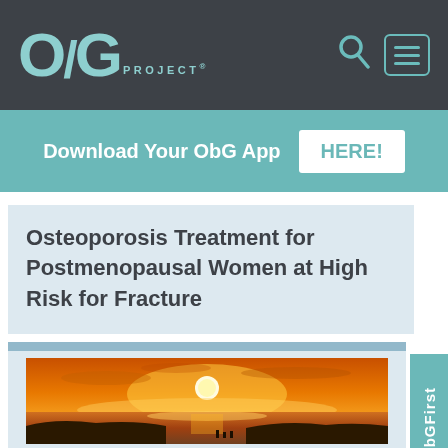ObG PROJECT®
Download Your ObG App  HERE!
Osteoporosis Treatment for Postmenopausal Women at High Risk for Fracture
[Figure (photo): Sunset over water with orange sky and silhouetted landscape]
ObGFirst